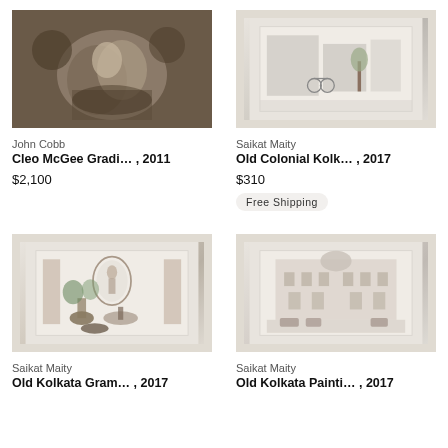[Figure (photo): Painting by John Cobb - Cleo McGee Gradi... , 2011, dark toned figurative painting]
John Cobb
Cleo McGee Gradi… , 2011
$2,100
[Figure (photo): Painting by Saikat Maity - Old Colonial Kolk... , 2017, street scene with bicycles in a frame]
Saikat Maity
Old Colonial Kolk… , 2017
$310
Free Shipping
[Figure (photo): Painting by Saikat Maity - Old Kolkata Gram... , 2017, courtyard scene with plants and figures in a frame]
Saikat Maity
Old Kolkata Gram… , 2017
[Figure (photo): Painting by Saikat Maity - Old Kolkata Painti... , 2017, urban building scene in a frame]
Saikat Maity
Old Kolkata Painti… , 2017